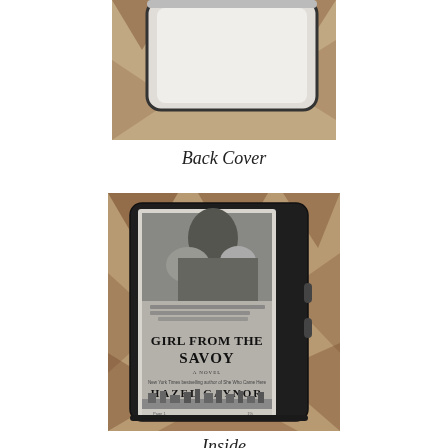[Figure (photo): Partial photo of a white e-reader device with a case, shown from the back, sitting on a patterned brown/tan carpet]
Back Cover
[Figure (photo): Photo of an Amazon Kindle Oasis e-reader displaying the book cover of 'Girl from the Savoy' by Hazel Gaynor, showing a black and white image of a woman, placed on a patterned brown carpet]
Inside